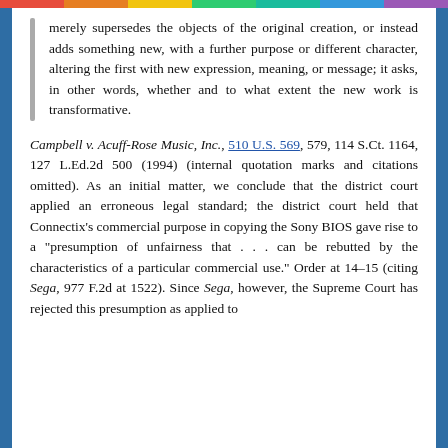merely supersedes the objects of the original creation, or instead adds something new, with a further purpose or different character, altering the first with new expression, meaning, or message; it asks, in other words, whether and to what extent the new work is transformative.
Campbell v. Acuff-Rose Music, Inc., 510 U.S. 569, 579, 114 S.Ct. 1164, 127 L.Ed.2d 500 (1994) (internal quotation marks and citations omitted). As an initial matter, we conclude that the district court applied an erroneous legal standard; the district court held that Connectix's commercial purpose in copying the Sony BIOS gave rise to a "presumption of unfairness that . . . can be rebutted by the characteristics of a particular commercial use." Order at 14-15 (citing Sega, 977 F.2d at 1522). Since Sega, however, the Supreme Court has rejected this presumption as applied to